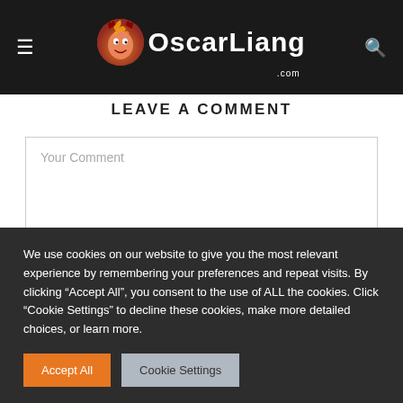OscarLiang.com
LEAVE A COMMENT
Your Comment
We use cookies on our website to give you the most relevant experience by remembering your preferences and repeat visits. By clicking "Accept All", you consent to the use of ALL the cookies. Click "Cookie Settings" to decline these cookies, make more detailed choices, or learn more.
Accept All
Cookie Settings